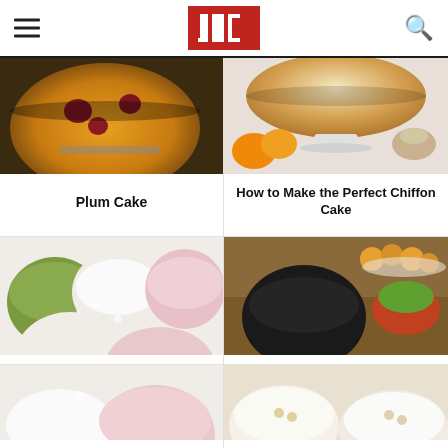JOC
[Figure (photo): Close-up of a plum cake in a skillet on a decorative glass plate, showing golden-orange cake with dark red plums embedded on top]
[Figure (photo): A perfect chiffon cake on a white cake stand, with orange halves and a teacup in the background]
Plum Cake
How to Make the Perfect Chiffon Cake
[Figure (photo): Assorted mochi ice cream balls in green matcha, white, and pink colors dusted with powdered sugar]
[Figure (photo): Japanese tea setup with cast iron teapot, cup of green tea, and small golden sweet dumplings on a wooden tray]
[Figure (photo): Partially visible mochi balls at the bottom of the page]
[Figure (photo): Partially visible Japanese sweets at the bottom right of the page]